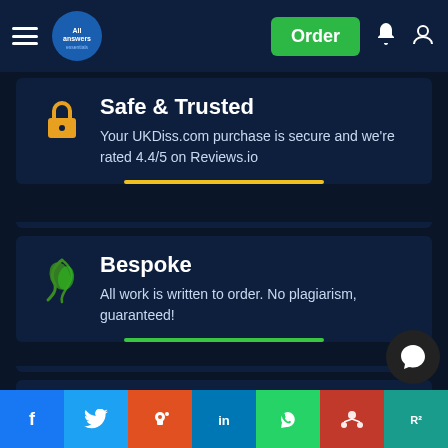All Answers — navigation bar with Order button
Safe & Trusted
Your UKDiss.com purchase is secure and we're rated 4.4/5 on Reviews.io
Bespoke
All work is written to order. No plagiarism, guaranteed!
Contact us
We're here to answer any questions you have about our services
Social share buttons: Facebook, Twitter, Reddit, LinkedIn, WhatsApp, Mendeley, ResearchGate